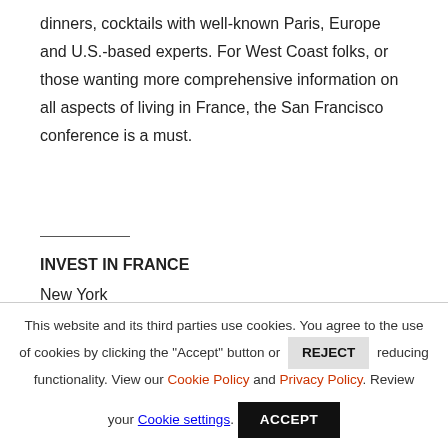dinners, cocktails with well-known Paris, Europe and U.S.-based experts. For West Coast folks, or those wanting more comprehensive information on all aspects of living in France, the San Francisco conference is a must.
INVEST IN FRANCE
New York
October 26, 2005
Harvard Club
This website and its third parties use cookies. You agree to the use of cookies by clicking the "Accept" button or REJECT reducing functionality. View our Cookie Policy and Privacy Policy. Review your Cookie settings.